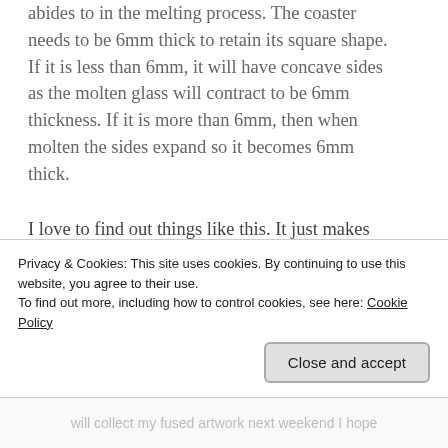abides to in the melting process. The coaster needs to be 6mm thick to retain its square shape. If it is less than 6mm, it will have concave sides as the molten glass will contract to be 6mm thickness. If it is more than 6mm, then when molten the sides expand so it becomes 6mm thick.
I love to find out things like this. It just makes this natural world we live in even more amazing, yet worrying that we seem intent as a race of people to destroy it for future generations.
I will collect my fused artwork next weekend I hope
Privacy & Cookies: This site uses cookies. By continuing to use this website, you agree to their use.
To find out more, including how to control cookies, see here: Cookie Policy
Close and accept